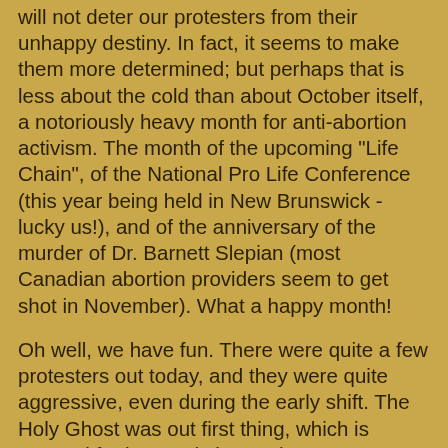will not deter our protesters from their unhappy destiny. In fact, it seems to make them more determined; but perhaps that is less about the cold than about October itself, a notoriously heavy month for anti-abortion activism. The month of the upcoming "Life Chain", of the National Pro Life Conference (this year being held in New Brunswick - lucky us!), and of the anniversary of the murder of Dr. Barnett Slepian (most Canadian abortion providers seem to get shot in November). What a happy month!
Oh well, we have fun. There were quite a few protesters out today, and they were quite aggressive, even during the early shift. The Holy Ghost was out first thing, which is unusual for her, and she made an attempt to talk to every single patient. It kept us very busy, and I was glad to have three escorts out back.
Crazy Legs came out a bit earlier than usual too, and since I received such a positive response to my descriptions of her dress sense, I will tell you, gentle readers, that she was wearing a fetching grey coat (with shoulder pads, of course) and black pants that were slightly too short for her. Excellent.